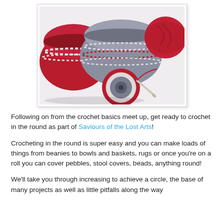[Figure (photo): Photo of crochet bowls and baskets in red and grey yarn, a flat circular crochet piece, and a ball of red yarn with a crochet hook on a white background.]
Following on from the crochet basics meet up, get ready to crochet in the round as part of Saviours of the Lost Arts!
Crocheting in the round is super easy and you can make loads of things from beanies to bowls and baskets, rugs or once you're on a roll you can cover pebbles, stool covers, beads, anything round!
We'll take you through increasing to achieve a circle, the base of many projects as well as little pitfalls along the way